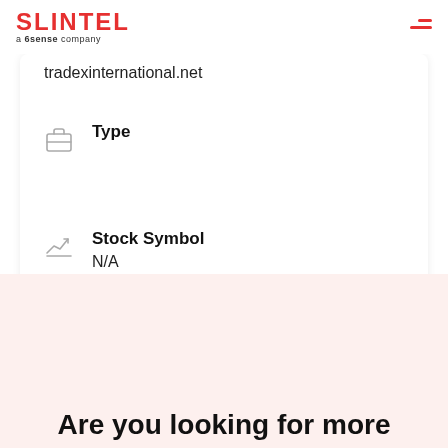SLINTEL a 6sense company
tradexinternational.net
Type
Stock Symbol
N/A
Linkedin
Are you looking for more